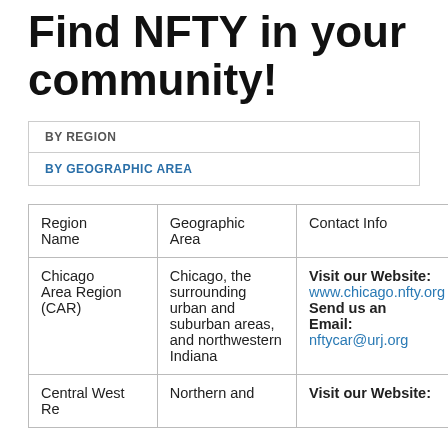Find NFTY in your community!
| BY REGION | BY GEOGRAPHIC AREA |  |
| --- | --- | --- |
| Region Name | Geographic Area | Contact Info |
| --- | --- | --- |
| Chicago Area Region (CAR) | Chicago, the surrounding urban and suburban areas, and northwestern Indiana | Visit our Website: www.chicago.nfty.org Send us an Email: nftycar@urj.org |
| Central West Region | Northern and ... | Visit our Website: ... |